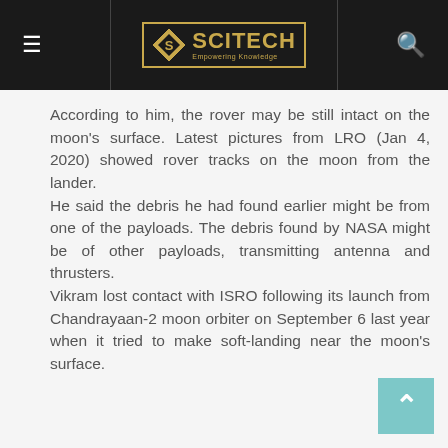SCITECH — Empowering Knowledge (header bar with menu and search icons)
According to him, the rover may be still intact on the moon's surface. Latest pictures from LRO (Jan 4, 2020) showed rover tracks on the moon from the lander.
He said the debris he had found earlier might be from one of the payloads. The debris found by NASA might be of other payloads, transmitting antenna and thrusters.
Vikram lost contact with ISRO following its launch from Chandrayaan-2 moon orbiter on September 6 last year when it tried to make soft-landing near the moon's surface.
Read more